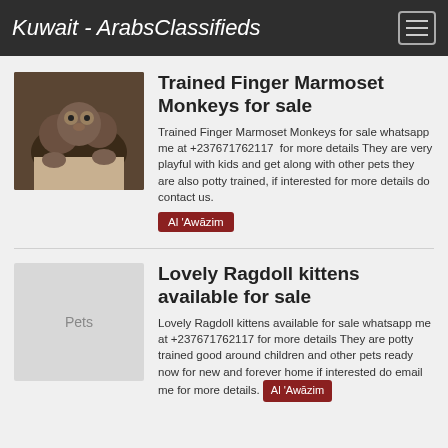Kuwait - ArabsClassifieds
Trained Finger Marmoset Monkeys for sale
Trained Finger Marmoset Monkeys for sale whatsapp me at +237671762117  for more details They are very playful with kids and get along with other pets they are also potty trained, if interested for more details do contact us.
Al 'Awāzim
Lovely Ragdoll kittens available for sale
Lovely Ragdoll kittens available for sale whatsapp me at +237671762117 for more details They are potty trained good around children and other pets ready now for new and forever home if interested do email me for more details.
Al 'Awāzim